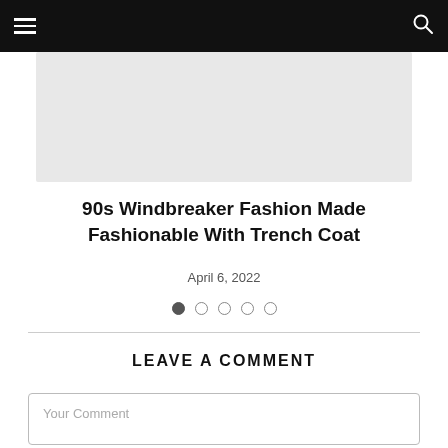Navigation bar with menu and search icons
[Figure (photo): Hero image placeholder — light grey rectangle]
90s Windbreaker Fashion Made Fashionable With Trench Coat
April 6, 2022
Pagination dots: 1 filled, 4 empty
LEAVE A COMMENT
Your Comment